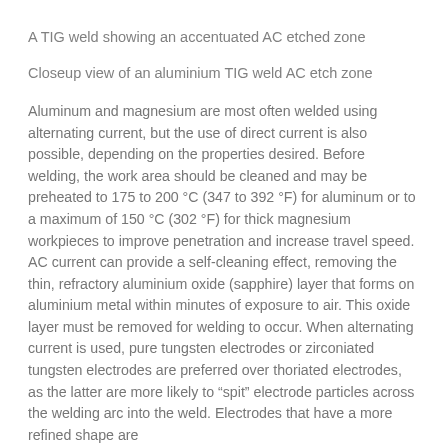A TIG weld showing an accentuated AC etched zone
Closeup view of an aluminium TIG weld AC etch zone
Aluminum and magnesium are most often welded using alternating current, but the use of direct current is also possible, depending on the properties desired. Before welding, the work area should be cleaned and may be preheated to 175 to 200 °C (347 to 392 °F) for aluminum or to a maximum of 150 °C (302 °F) for thick magnesium workpieces to improve penetration and increase travel speed. AC current can provide a self-cleaning effect, removing the thin, refractory aluminium oxide (sapphire) layer that forms on aluminium metal within minutes of exposure to air. This oxide layer must be removed for welding to occur. When alternating current is used, pure tungsten electrodes or zirconiated tungsten electrodes are preferred over thoriated electrodes, as the latter are more likely to “spit” electrode particles across the welding arc into the weld. Electrodes that have a more refined shape are